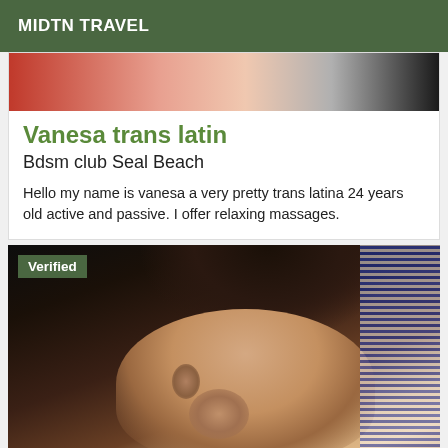MIDTN TRAVEL
[Figure (photo): Partial photo showing red and dark tones at top of card]
Vanesa trans latin
Bdsm club Seal Beach
Hello my name is vanesa a very pretty trans latina 24 years old active and passive. I offer relaxing massages.
[Figure (photo): Photo of a person lying down with dark hair, face visible, blue patterned fabric in background. Verified badge overlay in top-left corner.]